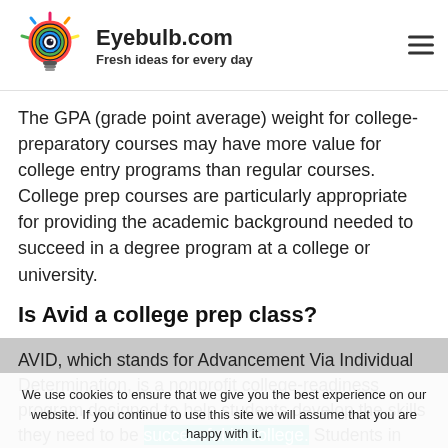Eyebulb.com — Fresh ideas for every day
The GPA (grade point average) weight for college-preparatory courses may have more value for college entry programs than regular courses. College prep courses are particularly appropriate for providing the academic background needed to succeed in a degree program at a college or university.
Is Avid a college prep class?
AVID, which stands for Advancement Via Individual Determination, is a nonprofit college-readiness program designed to help students develop the skills they need to be successful in college. Students in the class usually take it throughout their high school
We use cookies to ensure that we give you the best experience on our website. If you continue to use this site we will assume that you are happy with it.